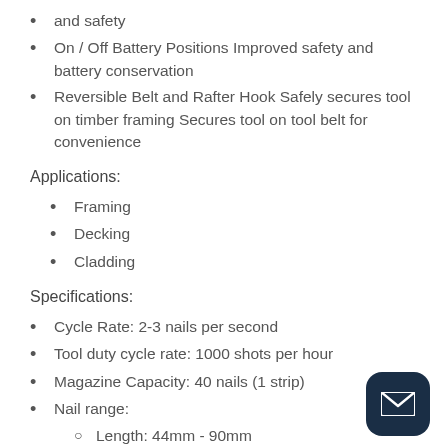and safety
On / Off Battery Positions Improved safety and battery conservation
Reversible Belt and Rafter Hook Safely secures tool on timber framing Secures tool on tool belt for convenience
Applications:
Framing
Decking
Cladding
Specifications:
Cycle Rate: 2-3 nails per second
Tool duty cycle rate: 1000 shots per hour
Magazine Capacity: 40 nails (1 strip)
Nail range:
Length: 44mm - 90mm
Diameter: 2.87mm - 3.15mm